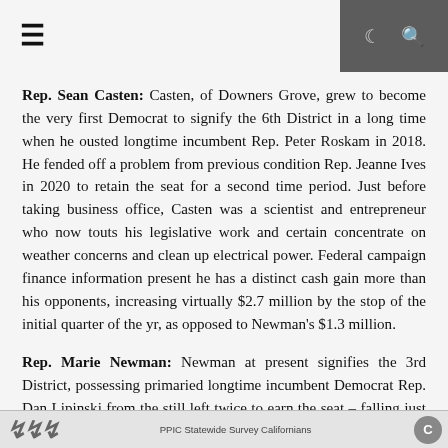☰ [menu icon] | [dark mode] [search]
Rep. Sean Casten: Casten, of Downers Grove, grew to become the very first Democrat to signify the 6th District in a long time when he ousted longtime incumbent Rep. Peter Roskam in 2018. He fended off a problem from previous condition Rep. Jeanne Ives in 2020 to retain the seat for a second time period. Just before taking business office, Casten was a scientist and entrepreneur who now touts his legislative work and certain concentrate on weather concerns and clean up electrical power. Federal campaign finance information present he has a distinct cash gain more than his opponents, increasing virtually $2.7 million by the stop of the initial quarter of the yr, as opposed to Newman's $1.3 million.
Rep. Marie Newman: Newman at present signifies the 3rd District, possessing primaried longtime incumbent Democrat Rep. Dan Lipinski from the still left twice to earn the seat – falling just shorter in 2018 ahead of
PPIC Statewide Survey Californians